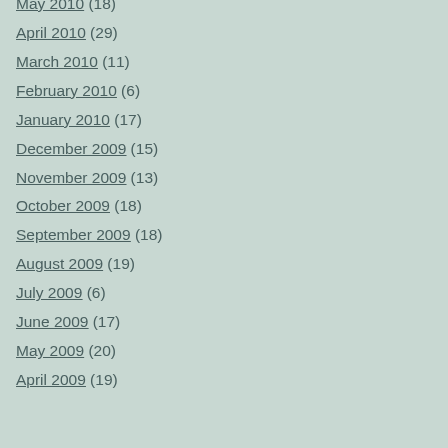May 2010 (18)
April 2010 (29)
March 2010 (11)
February 2010 (6)
January 2010 (17)
December 2009 (15)
November 2009 (13)
October 2009 (18)
September 2009 (18)
August 2009 (19)
July 2009 (6)
June 2009 (17)
May 2009 (20)
April 2009 (19)